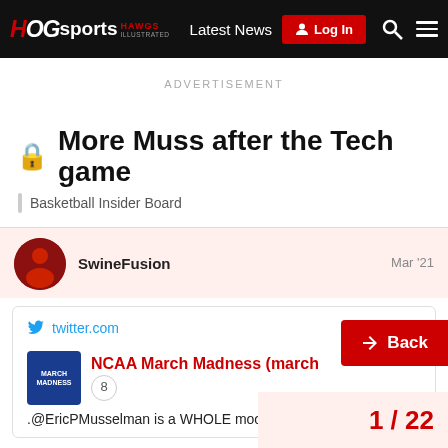HOGsports HAWGS ILLUSTRATED | Latest News | Log In
ADVERTISEMENT
🔒 More Muss after the Tech game
Basketball Insider Board
SwineFusion  Mar '21
[Figure (screenshot): Embedded tweet card showing twitter.com link, NCAA March Madness logo, NCAA March Madness (march...) title in red, badge number 8, and tweet text: .@EricPMusselman is a WHOLE mood]
Back
1 / 22